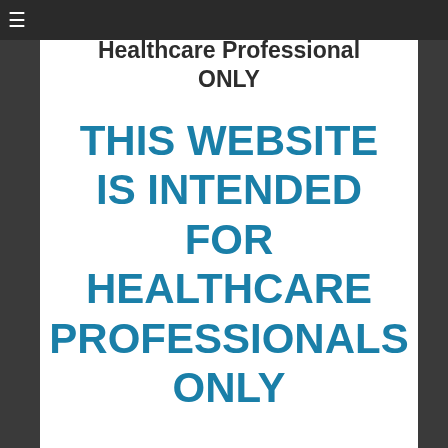Healthcare Professional ONLY
THIS WEBSITE IS INTENDED FOR HEALTHCARE PROFESSIONALS ONLY